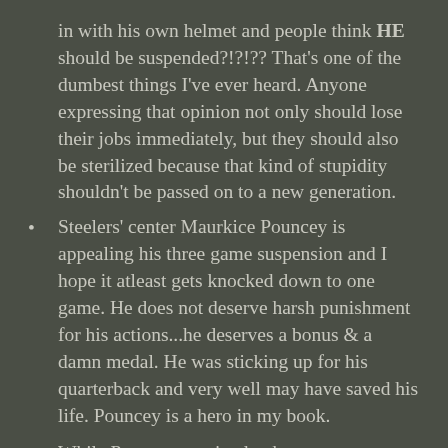in with his own helmet and people think HE should be suspended?!?!?? That's one of the dumbest things I've ever heard. Anyone expressing that opinion not only should lose their jobs immediately, but they should also be sterilized because that kind of stupidity shouldn't be passed on to a new generation.
Steelers' center Maurkice Pouncey is appealing his three game suspension and I hope it atleast gets knocked down to one game. He does not deserve harsh punishment for his actions...he deserves a bonus & a damn medal. He was sticking up for his quarterback and very well may have saved his life. Pouncey is a hero in my book.
While Pouncey received a three game